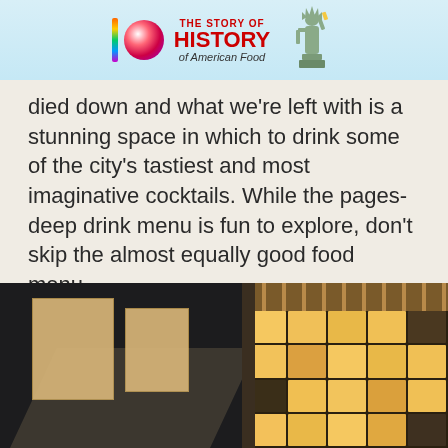[Figure (illustration): Banner advertisement for 'History of American Food' with colorful bar icon, sphere graphic, red bold text 'HISTORY of American Food', and Statue of Liberty silhouette on a light blue background]
died down and what we’re left with is a stunning space in which to drink some of the city’s tastiest and most imaginative cocktails. While the pages-deep drink menu is fun to explore, don’t skip the almost equally good food menu.
[Figure (photo): Interior photo of a bar with dark walls, hanging artwork/sketches on the left side, and an illuminated wall of bottle-lined shelves on the right with wooden ceiling beams]